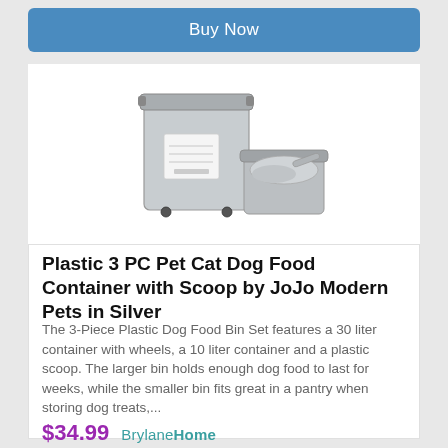Buy Now
[Figure (photo): A large 30-liter silver plastic container on wheels with a label, next to a smaller 10-liter silver container with a plastic scoop inside, both silver-toned.]
Plastic 3 PC Pet Cat Dog Food Container with Scoop by JoJo Modern Pets in Silver
The 3-Piece Plastic Dog Food Bin Set features a 30 liter container with wheels, a 10 liter container and a plastic scoop. The larger bin holds enough dog food to last for weeks, while the smaller bin fits great in a pantry when storing dog treats,...
$34.99  BrylaneHome